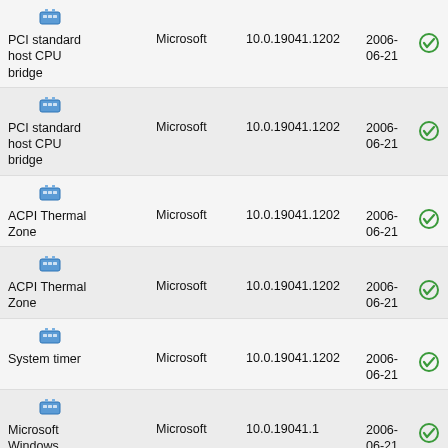| Device | Manufacturer | Version | Date | Status |
| --- | --- | --- | --- | --- |
| PCI standard host CPU bridge | Microsoft | 10.0.19041.1202 | 2006-06-21 | OK |
| PCI standard host CPU bridge | Microsoft | 10.0.19041.1202 | 2006-06-21 | OK |
| ACPI Thermal Zone | Microsoft | 10.0.19041.1202 | 2006-06-21 | OK |
| ACPI Thermal Zone | Microsoft | 10.0.19041.1202 | 2006-06-21 | OK |
| System timer | Microsoft | 10.0.19041.1202 | 2006-06-21 | OK |
| Microsoft Windows Management Interface for ACPI | Microsoft | 10.0.19041.1 | 2006-06-21 | OK |
| High precision event timer | Microsoft | 10.0.19041.1202 | 2006-06-21 | OK |
| Synaptics SMBus Driver | Synaptics | 19.0.19.1 | 2015-08-05 | Update |